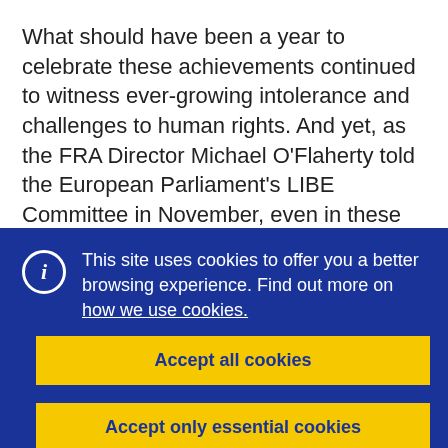What should have been a year to celebrate these achievements continued to witness ever-growing intolerance and challenges to human rights. And yet, as the FRA Director Michael O'Flaherty told the European Parliament's LIBE Committee in November, even in these dark and very worrying times for the state of human rights, there is nevertheless “a strong hard-nosed reality-based optimism and certainly a sense of direction”.
This site uses cookies to offer you a better browsing experience. Find out more on how we use cookies.
Accept all cookies
Accept only essential cookies